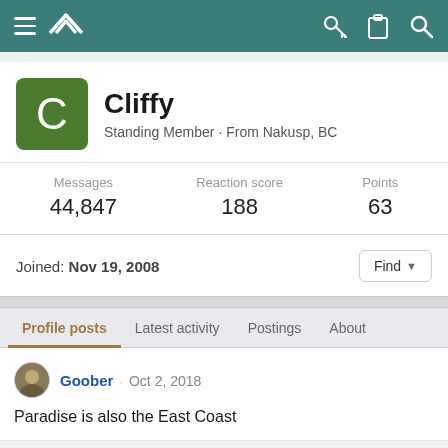Navigation bar with menu, logo, key, clipboard, and search icons
Cliffy
Standing Member · From Nakusp, BC
| Messages | Reaction score | Points |
| --- | --- | --- |
| 44,847 | 188 | 63 |
Joined: Nov 19, 2008
Profile posts | Latest activity | Postings | About
Goober · Oct 2, 2018
Paradise is also the East Coast